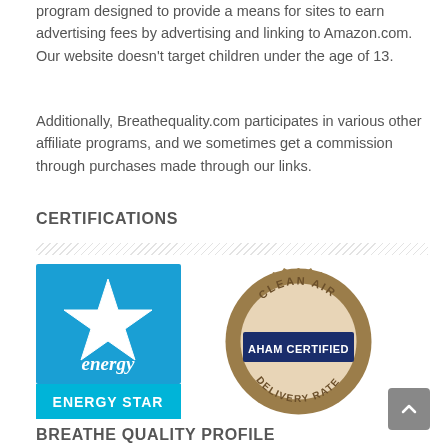program designed to provide a means for sites to earn advertising fees by advertising and linking to Amazon.com. Our website doesn't target children under the age of 13.
Additionally, Breathequality.com participates in various other affiliate programs, and we sometimes get a commission through purchases made through our links.
CERTIFICATIONS
[Figure (logo): Energy Star certification logo — blue square with white star outline and the word 'energy' in script, with 'ENERGY STAR' in a cyan banner below]
[Figure (logo): AHAM Certified Clean Air Delivery Rate badge — bronze/gold gear-shaped border with cream center, dark blue banner reading 'AHAM CERTIFIED', and text 'CLEAN AIR' at top and 'DELIVERY RATE' at bottom]
BREATHE QUALITY PROFILE